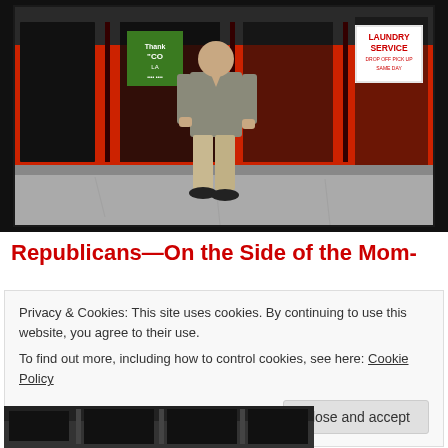[Figure (photo): A man standing in front of a storefront with red walls. The store has a 'LAUNDRY SERVICE DROP OFF PICK UP SAME DAY' sign in the window on the right, and a green sign on the left window. The man is wearing khaki pants and a gray jacket.]
Republicans—On the Side of the Mom-
Privacy & Cookies: This site uses cookies. By continuing to use this website, you agree to their use.
To find out more, including how to control cookies, see here: Cookie Policy
[Figure (photo): Partial view of another storefront photo at the bottom of the page, partially cut off.]